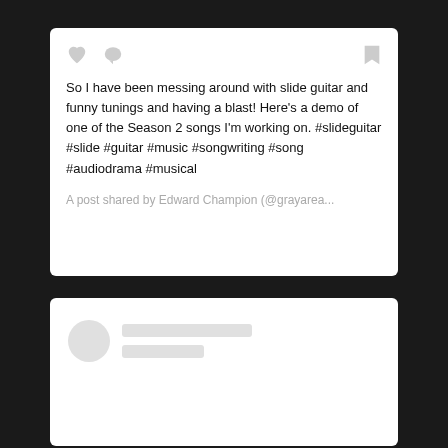[Figure (screenshot): Social media post card with heart, comment, bookmark icons at top]
So I have been messing around with slide guitar and funny tunings and having a blast! Here's a demo of one of the Season 2 songs I'm working on. #slideguitar #slide #guitar #music #songwriting #song #audiodrama #musical
A post shared by Edward Champion (@grayarea...
[Figure (screenshot): Loading placeholder card with circular avatar placeholder and two gray line placeholders for username and handle]